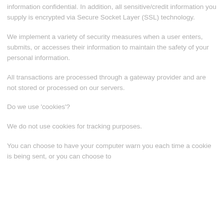information confidential. In addition, all sensitive/credit information you supply is encrypted via Secure Socket Layer (SSL) technology.
We implement a variety of security measures when a user enters, submits, or accesses their information to maintain the safety of your personal information.
All transactions are processed through a gateway provider and are not stored or processed on our servers.
Do we use 'cookies'?
We do not use cookies for tracking purposes.
You can choose to have your computer warn you each time a cookie is being sent, or you can choose to